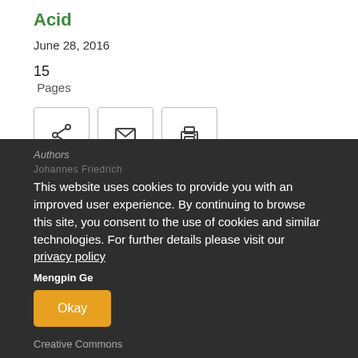Acid
June 28, 2016
15
Pages
[Figure (other): Three icon buttons: share, email, print]
Authors
This website uses cookies to provide you with an improved user experience. By continuing to browse this site, you consent to the use of cookies and similar technologies. For further details please visit our privacy policy
Johannes Friedrich
Mengpin Ge
Okay
Creative Commons